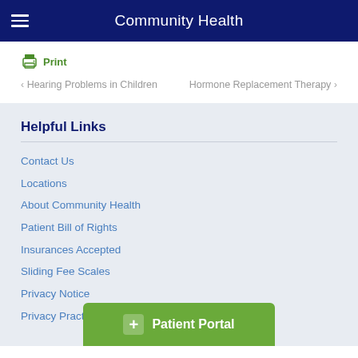Community Health
Print
‹ Hearing Problems in Children   Hormone Replacement Therapy ›
Helpful Links
Contact Us
Locations
About Community Health
Patient Bill of Rights
Insurances Accepted
Sliding Fee Scales
Privacy Notice
Privacy Practices
Patient Portal